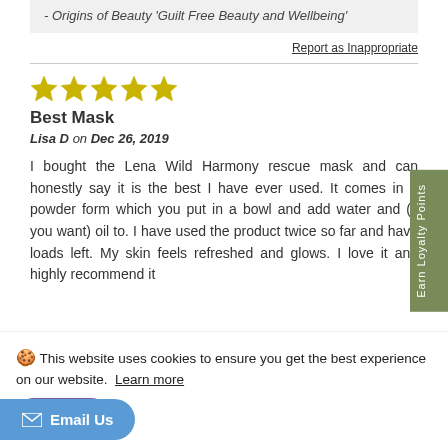- Origins of Beauty 'Guilt Free Beauty and Wellbeing'
Report as Inappropriate
[Figure (other): 5 yellow star rating icons]
Best Mask
Lisa D on Dec 26, 2019
I bought the Lena Wild Harmony rescue mask and can honestly say it is the best I have ever used. It comes in a powder form which you put in a bowl and add water and (if you want) oil to. I have used the product twice so far and have loads left. My skin feels refreshed and glows. I love it and highly recommend it
Earn Loyalty Points
🍪 This website uses cookies to ensure you get the best experience on our website. Learn more
Got it
Email Us